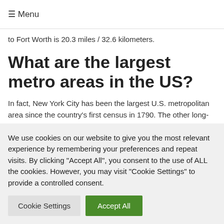≡ Menu
to Fort Worth is 20.3 miles / 32.6 kilometers.
What are the largest metro areas in the US?
In fact, New York City has been the largest U.S. metropolitan area since the country's first census in 1790. The other long-
We use cookies on our website to give you the most relevant experience by remembering your preferences and repeat visits. By clicking "Accept All", you consent to the use of ALL the cookies. However, you may visit "Cookie Settings" to provide a controlled consent.